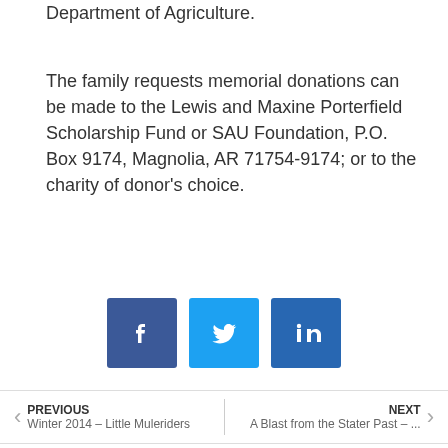Department of Agriculture.
The family requests memorial donations can be made to the Lewis and Maxine Porterfield Scholarship Fund or SAU Foundation, P.O. Box 9174, Magnolia, AR 71754-9174; or to the charity of donor's choice.
[Figure (infographic): Three social media share buttons: Facebook (dark blue), Twitter (light blue), LinkedIn (medium blue)]
PREVIOUS Winter 2014 – Little Muleriders | NEXT A Blast from the Stater Past – ...
More stories from this issue